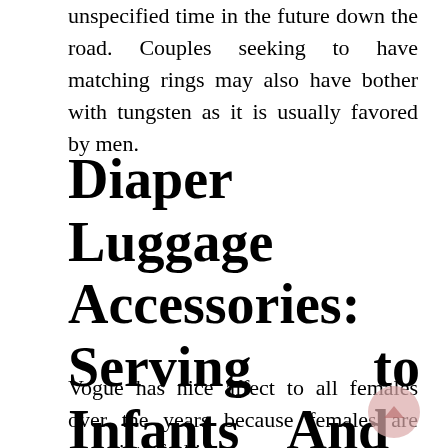unspecified time in the future down the road. Couples seeking to have matching rings may also have bother with tungsten as it is usually favored by men.
Diaper Luggage Accessories: Serving to Infants And Mommies To Travel With Flair
Vogue has nice affect to all females over the years because females are more into fashion